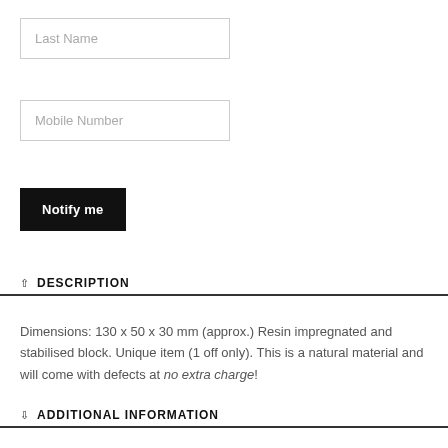Last Name
Mobile Number
Notify me
^ DESCRIPTION
Dimensions: 130 x 50 x 30 mm (approx.) Resin impregnated and stabilised block. Unique item (1 off only). This is a natural material and will come with defects at no extra charge!
v ADDITIONAL INFORMATION